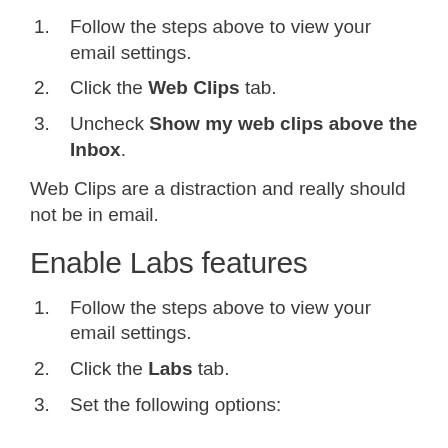1. Follow the steps above to view your email settings.
2. Click the Web Clips tab.
3. Uncheck Show my web clips above the Inbox.
Web Clips are a distraction and really should not be in email.
Enable Labs features
1. Follow the steps above to view your email settings.
2. Click the Labs tab.
3. Set the following options: